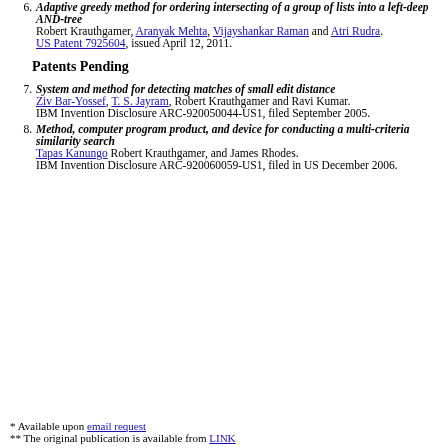6. Adaptive greedy method for ordering intersecting of a group of lists into a left-deep AND-tree. Robert Krauthgamer, Aranyak Mehta, Vijayshankar Raman and Atri Rudra. US Patent 7925604, issued April 12, 2011.
Patents Pending
7. System and method for detecting matches of small edit distance. Ziv Bar-Yossef, T. S. Jayram, Robert Krauthgamer and Ravi Kumar. IBM Invention Disclosure ARC-920050044-US1, filed September 2005.
8. Method, computer program product, and device for conducting a multi-criteria similarity search. Tapas Kanungo Robert Krauthgamer, and James Rhodes. IBM Invention Disclosure ARC-920060059-US1, filed in US December 2006.
* Available upon email request
** The original publication is available from LINK